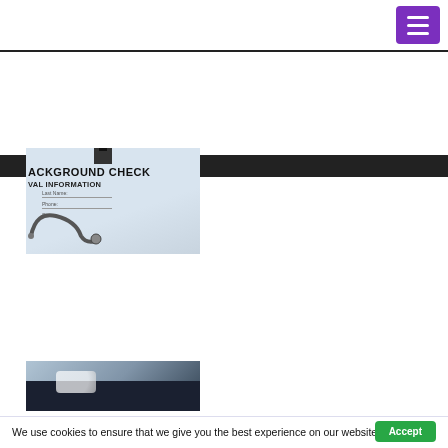Navigation menu button (hamburger icon)
[Figure (photo): A background check form on a clipboard with a stethoscope, showing text 'BACKGROUND CHECK' and 'PERSONAL INFORMATION' with fields for Last Name, Phone, State]
[Figure (photo): People holding a puzzle piece together, hands from multiple people joining a white puzzle piece]
We use cookies to ensure that we give you the best experience on our website.